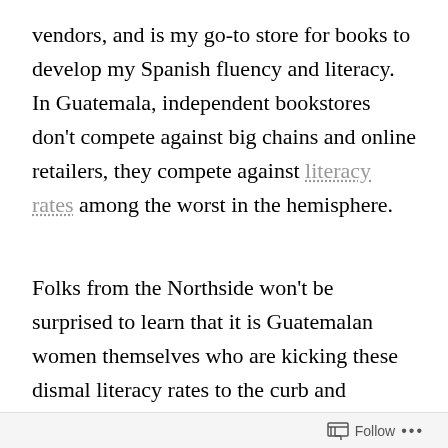vendors, and is my go-to store for books to develop my Spanish fluency and literacy. In Guatemala, independent bookstores don't compete against big chains and online retailers, they compete against literacy rates among the worst in the hemisphere.
Folks from the Northside won't be surprised to learn that it is Guatemalan women themselves who are kicking these dismal literacy rates to the curb and working to create a generation of readers — and leaders — whose impact will ripple out for centuries to come. Starfish: Her Infinite Impact is a partnership between indigenous women in rural Guatemala and
Follow